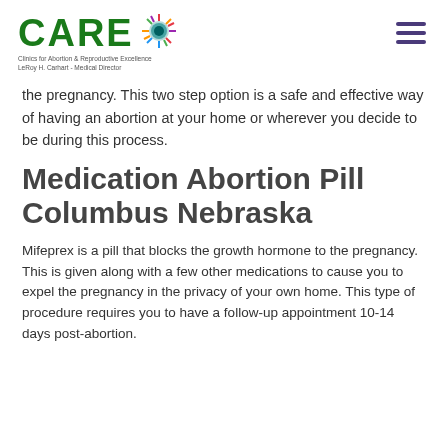CARE — Clinics for Abortion & Reproductive Excellence, LeRoy H. Carhart - Medical Director
the pregnancy. This two step option is a safe and effective way of having an abortion at your home or wherever you decide to be during this process.
Medication Abortion Pill Columbus Nebraska
Mifeprex is a pill that blocks the growth hormone to the pregnancy. This is given along with a few other medications to cause you to expel the pregnancy in the privacy of your own home. This type of procedure requires you to have a follow-up appointment 10-14 days post-abortion.